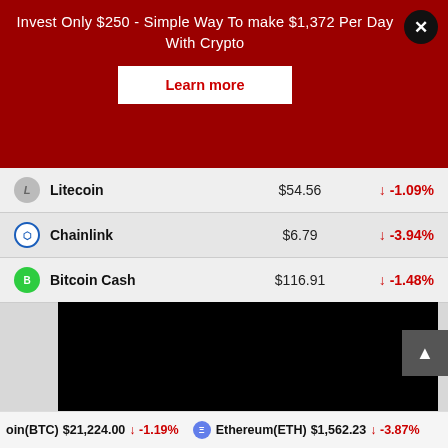Invest Only $250 - Simple Way To make $1,372 Per Day With Crypto
Learn more
| Coin | Price | Change |
| --- | --- | --- |
| Litecoin | $54.56 | ↓ -1.09% |
| Chainlink | $6.79 | ↓ -3.94% |
| Bitcoin Cash | $116.91 | ↓ -1.48% |
[Figure (screenshot): Black video embed area]
oin(BTC) $21,224.00 ↓ -1.19%   Ethereum(ETH) $1,562.23 ↓ -3.87%